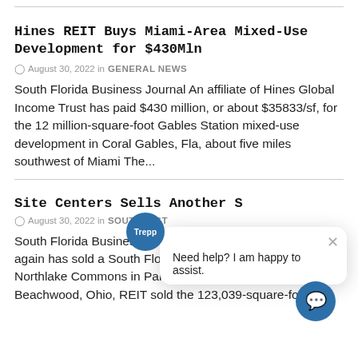Hines REIT Buys Miami-Area Mixed-Use Development for $430Mln
August 30, 2022 in GENERAL NEWS
South Florida Business Journal An affiliate of Hines Global Income Trust has paid $430 million, or about $35833/sf, for the 12 million-square-foot Gables Station mixed-use development in Coral Gables, Fla, about five miles southwest of Miami The...
Site Centers Sells Another S
August 30, 2022 in SOUTHEAST
South Florida Business Journal Site Centers Corp once again has sold a South Florida retail property, this it's Northlake Commons in Palm Beach Gardens, Fl Beachwood, Ohio, REIT sold the 123,039-square-foot